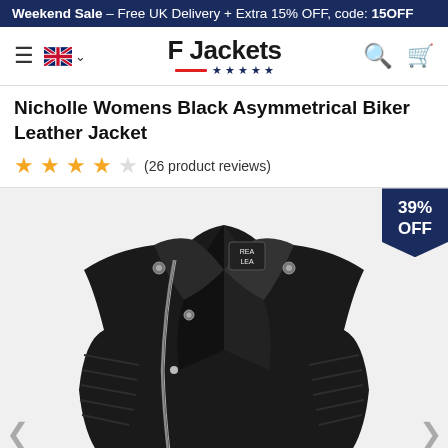Weekend Sale - Free UK Delivery + Extra 15% OFF, code: 15OFF
[Figure (screenshot): F Jackets website navigation bar with hamburger menu, UK flag, F Jackets logo with red underline and blue stars, search icon, and cart icon]
Nicholle Womens Black Asymmetrical Biker Leather Jacket
★★★★☆ (26 product reviews)
[Figure (photo): Black asymmetrical biker leather jacket product photo with a 39% OFF badge in the top right corner and navigation arrows on both sides]